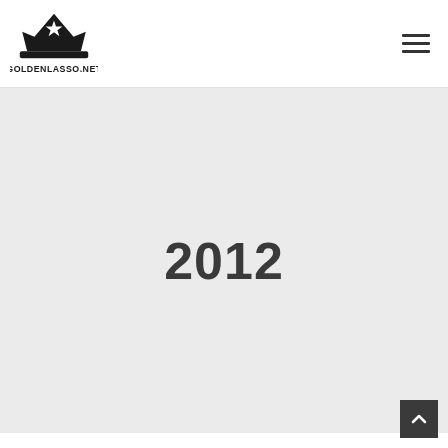[Figure (logo): Golden Lasso logo with crown/hat shape and star, text GOLDENLASSO.NET below]
2012